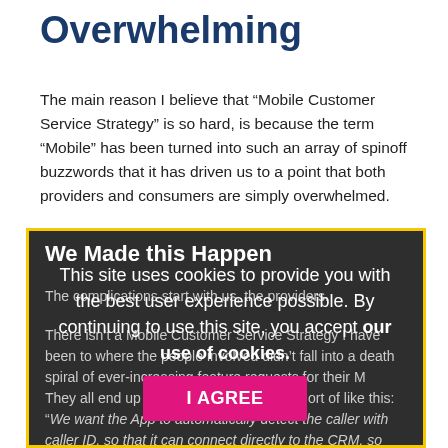Overwhelming
The main reason I believe that “Mobile Customer Service Strategy” is so hard, is because the term “Mobile” has been turned into such an array of spinoff buzzwords that it has driven us to a point that both providers and consumers are simply overwhelmed.
We Made this Happen
The complications start with us, the providers.
There isn’t a Mobile Customer Service Strategy I have been to where the people involved didn’t fall into a death spiral of ever-increasing feature requests for their M... They all end up wanting something ... sort of like this: “We want the App to automatically detect the caller with caller ID, so that it can connect directly to the CRM, so
This site uses cookies to provide you with the best user experience possible. By continuing to use this site, you accept our use of cookies.
I AGREE